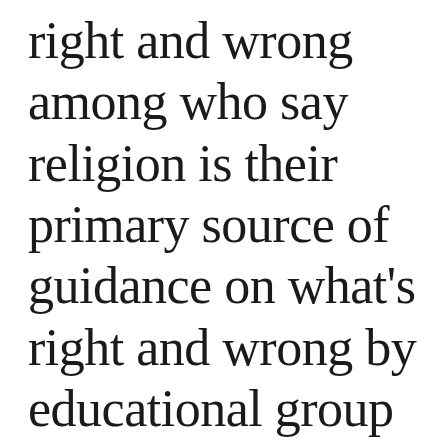right and wrong among who say religion is their primary source of guidance on what's right and wrong by educational group